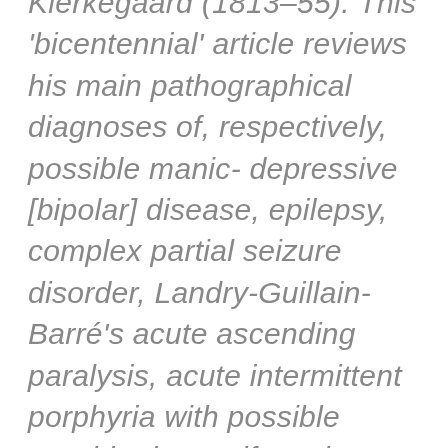Kierkegaard (1813–55). This 'bicentennial' article reviews his main pathographical diagnoses of, respectively, possible manic-depressive [bipolar] disease, epilepsy, complex partial seizure disorder, Landry-Guillain-Barré's acute ascending paralysis, acute intermittent porphyria with possible psychiatric manifestations, and syphilidophobia.